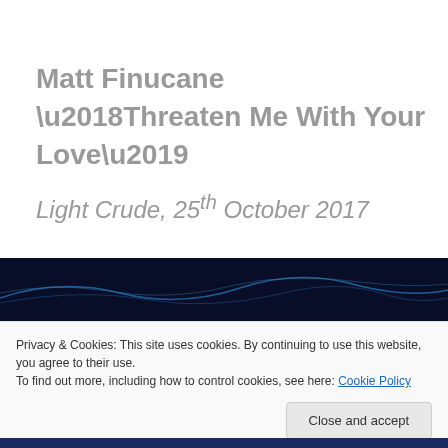Matt Finucane  ‘Threaten Me With Your Love’
Light Crude,  25th October 2017
[Figure (photo): Dark background image with blue wave/light streaks on a navy background]
Privacy & Cookies: This site uses cookies. By continuing to use this website, you agree to their use.
To find out more, including how to control cookies, see here: Cookie Policy
Close and accept